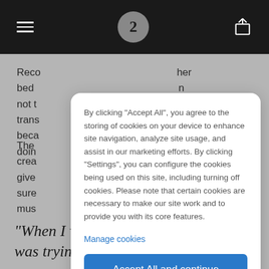Navigation bar with hamburger menu, logo, and basket icon
Reco... her bed... n not t... trans... ible beca... d doin...
The... t, crea... o give... l sure... mus... impo...
By clicking "Accept All", you agree to the storing of cookies on your device to enhance site navigation, analyze site usage, and assist in our marketing efforts. By clicking "Settings", you can configure the cookies being used on this site, including turning off cookies. Please note that certain cookies are necessary to make our site work and to provide you with its core features.
Manage cookies
Accept All and continue
"When I was making these sounds I was trying to make stuff that I would